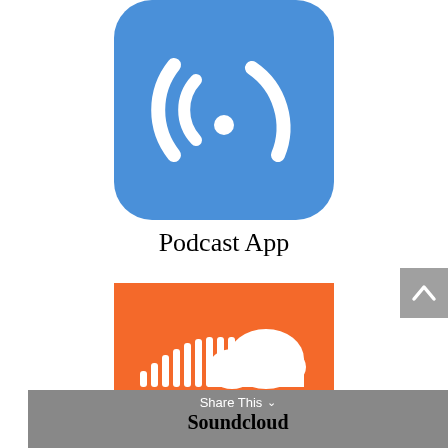[Figure (logo): Podcast App logo: blue rounded square with white concentric C/headphone arc icon]
Podcast App
[Figure (logo): SoundCloud logo: orange rectangle with white cloud and soundwave bars icon]
Share This  Soundcloud